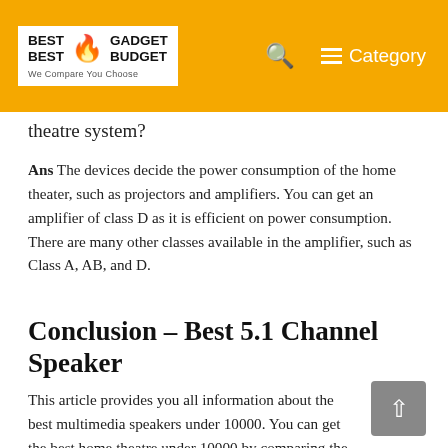BEST BEST GADGET BUDGET We Compare You Choose | Category
theatre system?
Ans The devices decide the power consumption of the home theater, such as projectors and amplifiers. You can get an amplifier of class D as it is efficient on power consumption. There are many other classes available in the amplifier, such as Class A, AB, and D.
Conclusion – Best 5.1 Channel Speaker
This article provides you all information about the best multimedia speakers under 10000. You can get the best home theatre under 10000 by comparing the features, pros, and cons of each.
If you are looking for a 5.1 home theatre system in India, then you should read this article...